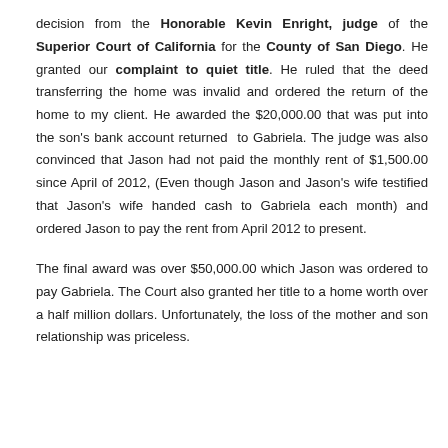decision from the Honorable Kevin Enright, judge of the Superior Court of California for the County of San Diego. He granted our complaint to quiet title. He ruled that the deed transferring the home was invalid and ordered the return of the home to my client. He awarded the $20,000.00 that was put into the son's bank account returned to Gabriela. The judge was also convinced that Jason had not paid the monthly rent of $1,500.00 since April of 2012, (Even though Jason and Jason's wife testified that Jason's wife handed cash to Gabriela each month) and ordered Jason to pay the rent from April 2012 to present.

The final award was over $50,000.00 which Jason was ordered to pay Gabriela. The Court also granted her title to a home worth over a half million dollars. Unfortunately, the loss of the mother and son relationship was priceless.